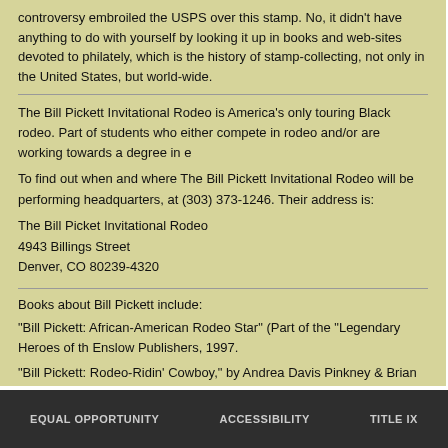controversy embroiled the USPS over this stamp. No, it didn't have anything to do with yourself by looking it up in books and web-sites devoted to philately, which is the history of stamp-collecting, not only in the United States, but world-wide.
The Bill Pickett Invitational Rodeo is America's only touring Black rodeo. Part of students who either compete in rodeo and/or are working towards a degree in e
To find out when and where The Bill Pickett Invitational Rodeo will be performing headquarters, at (303) 373-1246. Their address is:
The Bill Picket Invitational Rodeo
4943 Billings Street
Denver, CO 80239-4320
Books about Bill Pickett include:
"Bill Pickett: African-American Rodeo Star" (Part of the "Legendary Heroes of th Enslow Publishers, 1997.
"Bill Pickett: Rodeo-Ridin' Cowboy," by Andrea Davis Pinkney & Brian J. Pinkne
"Guts: Legendary Black Rodeo Cowboy Bill Pickett," by Cecil Johnson & Bill Pi
Category: Western Frontier | Subcategory: People | Tags: Texas , 1870
Related Topics / Keywords / Phrases: 1246, 1870, 1903, 1905, 1932, 1971, 1994, 1996, 1997, York (New York), New York City, Reynolds, Texas,
EQUAL OPPORTUNITY   ACCESSIBILITY   TITLE IX